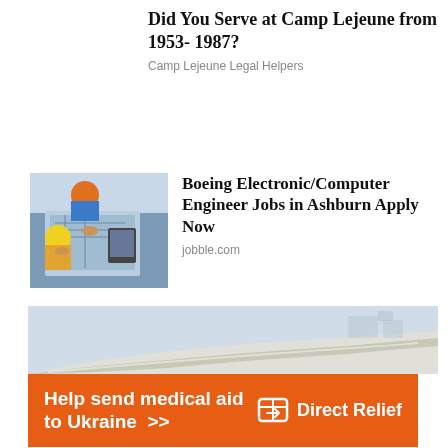[Figure (other): Advertisement: Did You Serve at Camp Lejeune from 1953-1987? Camp Lejeune Legal Helpers]
[Figure (photo): Workers in hard hats looking at blueprints, paired with Boeing Electronic/Computer Engineer Jobs in Ashburn Apply Now ad from jobble.com]
[Figure (other): Direct Relief banner ad showing airplane wing with orange bar: Help send medical aid to Ukraine >> with Direct Relief logo]